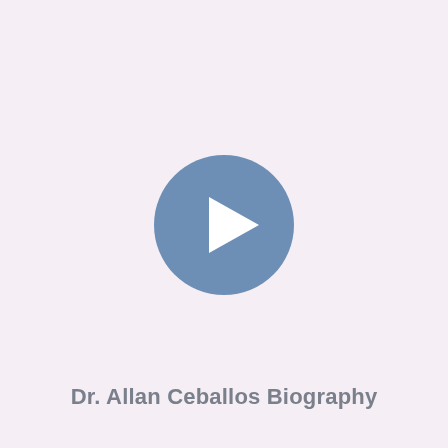[Figure (illustration): A circular play button icon with a steel-blue/muted indigo colored circle and a white right-pointing triangle (play arrow) in the center, on a light pinkish-lavender background.]
Dr. Allan Ceballos Biography